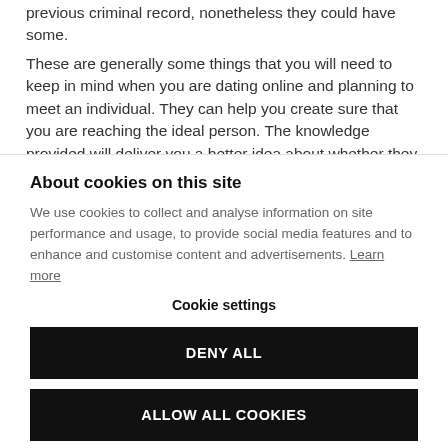previous criminal record, nonetheless they could have some.
These are generally some things that you will need to keep in mind when you are dating online and planning to meet an individual. They can help you create sure that you are reaching the ideal person. The knowledge provided will deliver you a better idea about whether they are the correct
About cookies on this site
We use cookies to collect and analyse information on site performance and usage, to provide social media features and to enhance and customise content and advertisements. Learn more
Cookie settings
DENY ALL
ALLOW ALL COOKIES